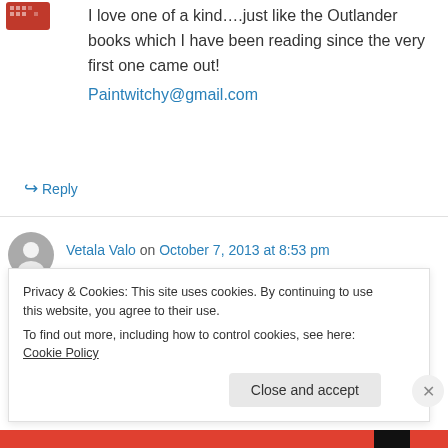[Figure (illustration): Small pixelated red avatar icon in top left]
I love one of a kind….just like the Outlander books which I have been reading since the very first one came out!
Paintwitchy@gmail.com
↪ Reply
[Figure (illustration): Gray circular avatar with person silhouette]
Vetala Valo on October 7, 2013 at 8:53 pm
Beautiful, just email me at vetala@gmail.com when I win 😊
Privacy & Cookies: This site uses cookies. By continuing to use this website, you agree to their use.
To find out more, including how to control cookies, see here: Cookie Policy